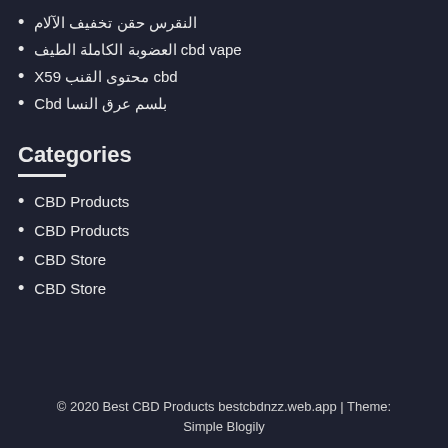النقرس حقن تخفيف الآلام
cbd vape العضوبة الكاملة الطيف
cbd محتوى القنب X59
بلسم عرق النسا Cbd
Categories
CBD Products
CBD Products
CBD Store
CBD Store
© 2020 Best CBD Products bestcbdnzz.web.app | Theme: Simple Blogily